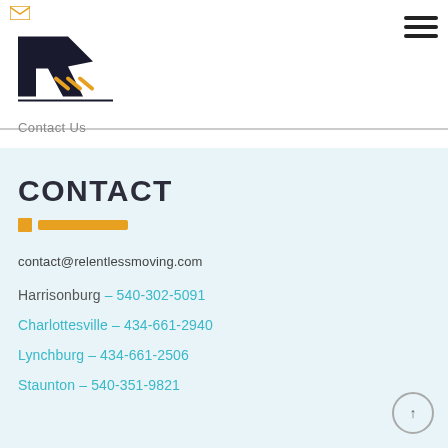[Figure (logo): Relentless Moving company logo — stylized bold R with road/arrow graphic and email icon above]
Contact Us
CONTACT
contact@relentlessmoving.com
Harrisonburg – 540-302-5091
Charlottesville – 434-661-2940
Lynchburg – 434-661-2506
Staunton – 540-351-9821